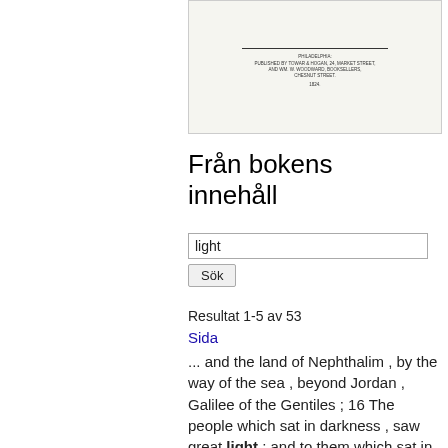[Figure (illustration): Book cover image showing a title page from Philadelphia publisher, with a decorative corner element]
Från bokens innehåll
light
Sök
Resultat 1-5 av 53
Sida
... and the land of Nephthalim , by the way of the sea , beyond Jordan , Galilee of the Gentiles ; 16 The people which sat in darkness , saw great light ; and to them which sat in the region and shadow of death , light is sprung up